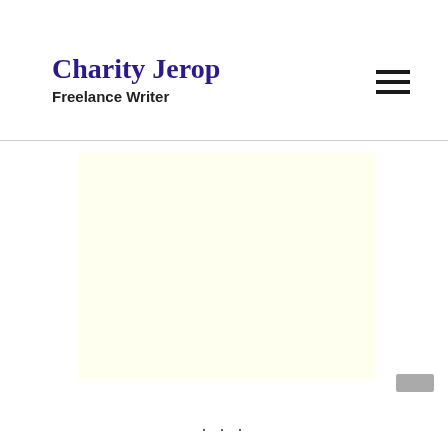Charity Jerop — Freelance Writer
[Figure (other): Light yellow rectangular advertisement or placeholder block below the site header]